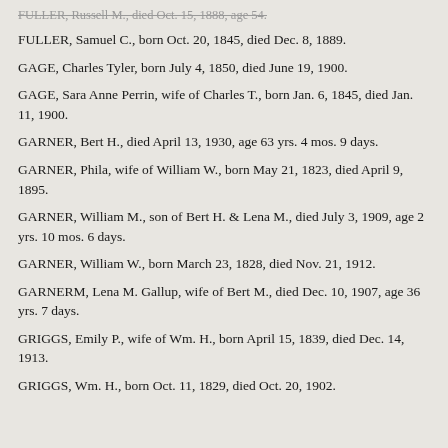FULLER, Russell M., died Oct. 15, 1888, age 54.
FULLER, Samuel C., born Oct. 20, 1845, died Dec. 8, 1889.
GAGE, Charles Tyler, born July 4, 1850, died June 19, 1900.
GAGE, Sara Anne Perrin, wife of Charles T., born Jan. 6, 1845, died Jan. 11, 1900.
GARNER, Bert H., died April 13, 1930, age 63 yrs. 4 mos. 9 days.
GARNER, Phila, wife of William W., born May 21, 1823, died April 9, 1895.
GARNER, William M., son of Bert H. & Lena M., died July 3, 1909, age 2 yrs. 10 mos. 6 days.
GARNER, William W., born March 23, 1828, died Nov. 21, 1912.
GARNERM, Lena M. Gallup, wife of Bert M., died Dec. 10, 1907, age 36 yrs. 7 days.
GRIGGS, Emily P., wife of Wm. H., born April 15, 1839, died Dec. 14, 1913.
GRIGGS, Wm. H., born Oct. 11, 1829, died Oct. 20, 1902.